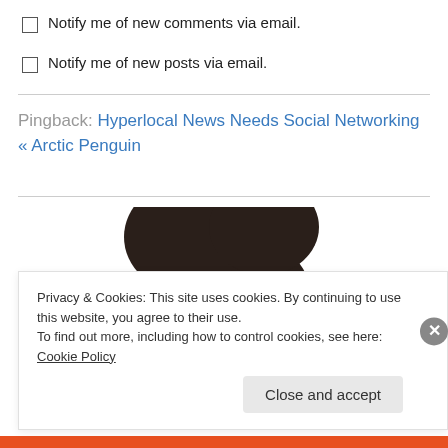Notify me of new comments via email.
Notify me of new posts via email.
Pingback: Hyperlocal News Needs Social Networking « Arctic Penguin
[Figure (photo): Top of a person's head with dark hair, partially visible]
Privacy & Cookies: This site uses cookies. By continuing to use this website, you agree to their use.
To find out more, including how to control cookies, see here: Cookie Policy
Close and accept